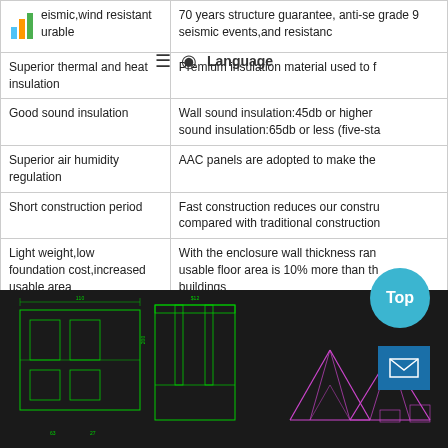| Feature | Description |
| --- | --- |
| Seismic,wind resistant durable | 70 years structure guarantee, anti-seismic grade 9 seismic events,and resistance |
| Superior thermal and heat insulation | Premium insulation material used to f... |
| Good sound insulation | Wall sound insulation:45db or higher sound insulation:65db or less (five-sta... |
| Superior air humidity regulation | AAC panels are adopted to make the... |
| Short construction period | Fast construction reduces our constru... compared with traditional construction... |
| Light weight,low foundation cost,increased usable area | With the enclosure wall thickness ran... usable floor area is 10% more than th... buildings |
| Good compatibility of integrated buliding material | Advanced solar energy system;Centr... pollution during dust suction;Household conditioning;Anti-theft system,video i... |
[Figure (engineering-diagram): CAD engineering drawings showing structural plans and roof truss diagrams on dark background]